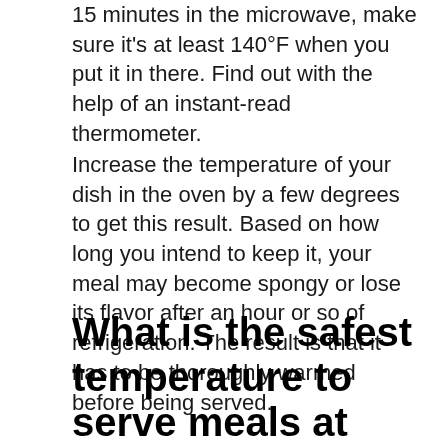15 minutes in the microwave, make sure it's at least 140°F when you put it in there. Find out with the help of an instant-read thermometer.
Increase the temperature of your dish in the oven by a few degrees to get this result. Based on how long you intend to keep it, your meal may become spongy or lose its flavor after an hour or so of refrigeration. The result is that it has to be thoroughly warmed before being served.
What is the safest temperature to serve meals at